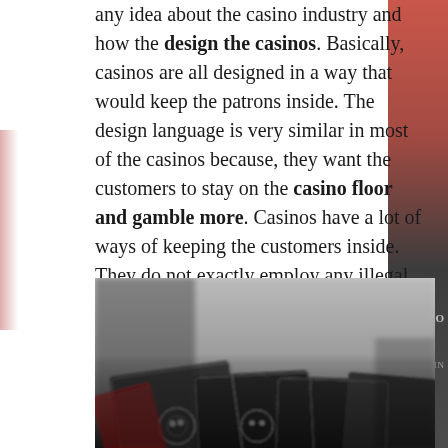any idea about the casino industry and how the design the casinos. Basically, casinos are all designed in a way that would keep the patrons inside. The design language is very similar in most of the casinos because, they want the customers to stay on the casino floor and gamble more. Casinos have a lot of ways of keeping the customers inside. They do not exactly employ any illegal methods. They employ certain methods that would actually work and, they play into design psychology.
[Figure (photo): Close-up photograph of playing cards arranged on a surface, black and white playing cards with decorative designs, blurred depth of field]